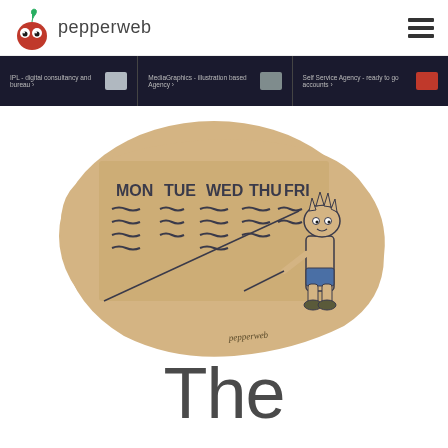pepperweb
[Figure (illustration): Navigation bar with three menu items: 'IPL - digital consultancy and bureau', 'MediaGraphics - illustration based agency', and 'Self Service Agency - ready to go accounts', each with small icons, on a dark navy background]
[Figure (illustration): Cartoon illustration of Bart Simpson writing on a weekly schedule board (MON TUE WED THU FRI) with wavy lines for text, on a golden/tan background with 'pepperweb' signature]
The